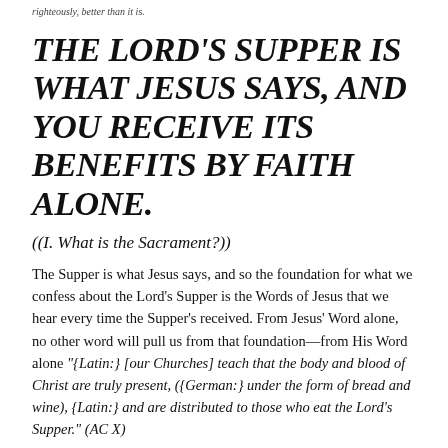righteously, better than it is.
THE LORD'S SUPPER IS WHAT JESUS SAYS, AND YOU RECEIVE ITS BENEFITS BY FAITH ALONE.
((I. What is the Sacrament?))
The Supper is what Jesus says, and so the foundation for what we confess about the Lord's Supper is the Words of Jesus that we hear every time the Supper's received. From Jesus' Word alone, no other word will pull us from that foundation—from His Word alone "{Latin:} [our Churches] teach that the body and blood of Christ are truly present, ({German:} under the form of bread and wine), {Latin:} and are distributed to those who eat the Lord's Supper." (AC X)